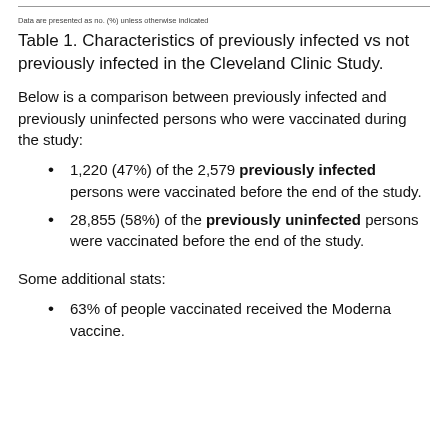Data are presented as no. (%) unless otherwise indicated
Table 1. Characteristics of previously infected vs not previously infected in the Cleveland Clinic Study.
Below is a comparison between previously infected and previously uninfected persons who were vaccinated during the study:
1,220 (47%) of the 2,579 previously infected persons were vaccinated before the end of the study.
28,855 (58%) of the previously uninfected persons were vaccinated before the end of the study.
Some additional stats:
63% of people vaccinated received the Moderna vaccine.